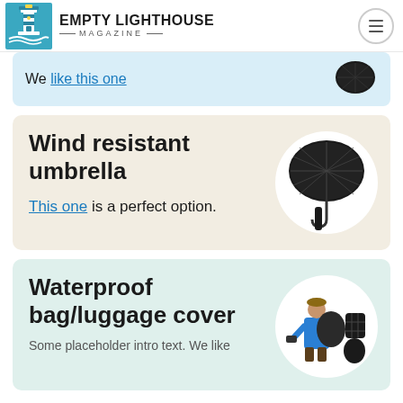EMPTY LIGHTHOUSE MAGAZINE
We like this one
Wind resistant umbrella
This one is a perfect option.
[Figure (photo): Black compact folding umbrella shown open and closed]
Waterproof bag/luggage cover
[Figure (photo): Person wearing blue jacket with waterproof backpack cover and separate bag cover shown]
Some placeholder intro text. We like